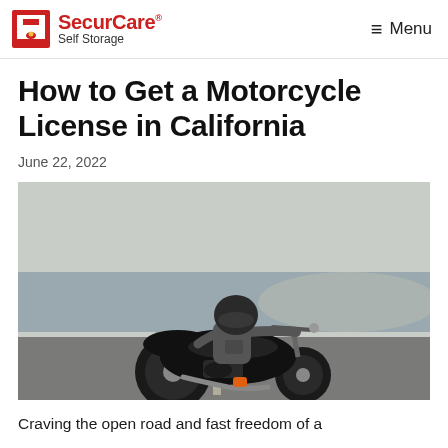SecurCare Self Storage — Menu
How to Get a Motorcycle License in California
June 22, 2022
[Figure (photo): Motorcycle rider wearing a helmet, viewed from behind, riding a large black cruiser motorcycle on a coastal road with ocean and hazy sky in the background.]
Craving the open road and fast freedom of a